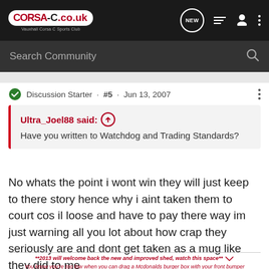CORSA-C.co.uk — Vauxhall Corsa C Sports Club
Search Community
Discussion Starter · #5 · Jun 13, 2007
Ultra_Joel88 said: Have you written to Watchdog and Trading Standards?
No whats the point i wont win they will just keep to there story hence why i aint taken them to court cos il loose and have to pay there way im just warning all you lot about how crap they seriously are and dont get taken as a mug like they did to me
**2013 will welcome back the new and improved shed, watch this space** You know you're too low when you can drag a Mcdonalds burger box with your front bumper